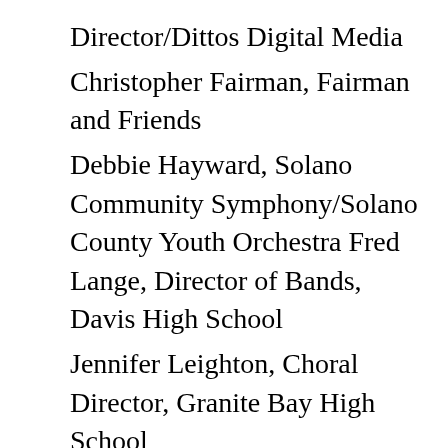Director/Dittos Digital Media
Christopher Fairman, Fairman and Friends
Debbie Hayward, Solano Community Symphony/Solano County Youth Orchestra Fred Lange, Director of Bands, Davis High School
Jennifer Leighton, Choral Director, Granite Bay High School
Ming Luke, Asst.Conductor/Education Director, Sacramento Philharmonic Orchestra
Skip Maggiora, Owner, Skip's Music